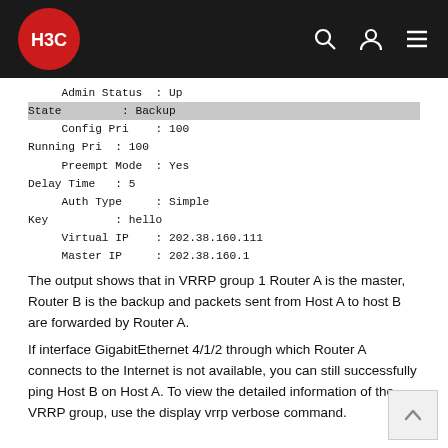H3C
Admin Status  : Up
State         : Backup
    Config Pri    : 100
Running Pri  : 100
    Preempt Mode  : Yes
Delay Time   : 5
    Auth Type     : Simple
Key          : hello
    Virtual IP    : 202.38.160.111
    Master IP     : 202.38.160.1
The output shows that in VRRP group 1 Router A is the master, Router B is the backup and packets sent from Host A to host B are forwarded by Router A.
If interface GigabitEthernet 4/1/2 through which Router A connects to the Internet is not available, you can still successfully ping Host B on Host A. To view the detailed information of the VRRP group, use the display vrrp verbose command.